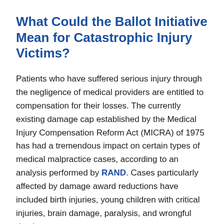What Could the Ballot Initiative Mean for Catastrophic Injury Victims?
Patients who have suffered serious injury through the negligence of medical providers are entitled to compensation for their losses. The currently existing damage cap established by the Medical Injury Compensation Reform Act (MICRA) of 1975 has had a tremendous impact on certain types of medical malpractice cases, according to an analysis performed by RAND. Cases particularly affected by damage award reductions have included birth injuries, young children with critical injuries, brain damage, paralysis, and wrongful death.